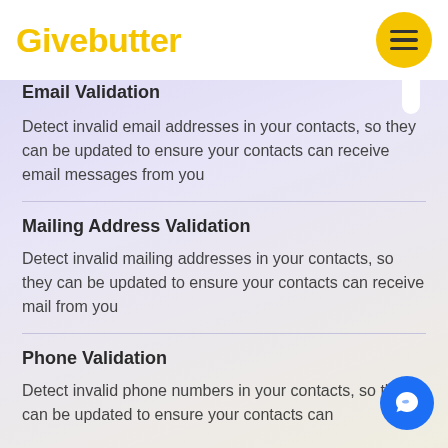Givebutter
Email Validation
Detect invalid email addresses in your contacts, so they can be updated to ensure your contacts can receive email messages from you
Mailing Address Validation
Detect invalid mailing addresses in your contacts, so they can be updated to ensure your contacts can receive mail from you
Phone Validation
Detect invalid phone numbers in your contacts, so they can be updated to ensure your contacts can